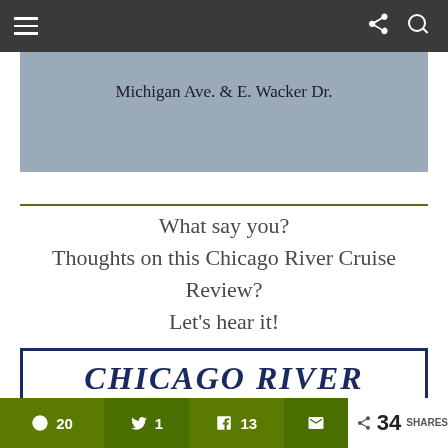Navigation bar with hamburger menu, share icon, and search icon
[Figure (photo): Grey placeholder image area with caption 'Michigan Ave. & E. Wacker Dr.']
Michigan Ave. & E. Wacker Dr.
What say you? Thoughts on this Chicago River Cruise Review? Let's hear it!
Pin Me!
[Figure (illustration): Pinterest pinnable image with 'CHICAGO RIVER' text in dark blue italic bold on white background with dark blue border]
20  1  13  34 SHARES